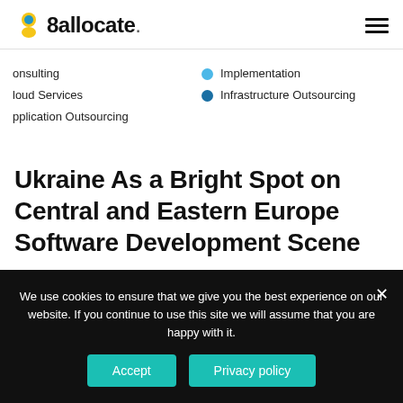8allocate
Consulting
Cloud Services
Application Outsourcing
Implementation
Infrastructure Outsourcing
Ukraine As a Bright Spot on Central and Eastern Europe Software Development Scene
We use cookies to ensure that we give you the best experience on our website. If you continue to use this site we will assume that you are happy with it.
Accept   Privacy policy